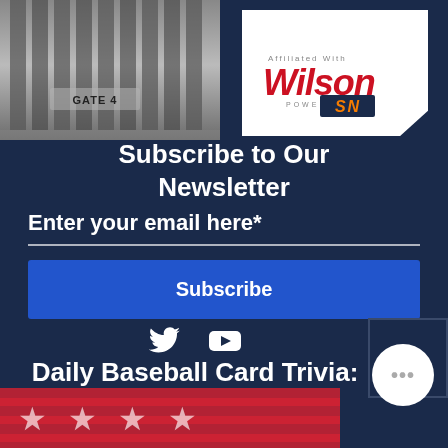[Figure (screenshot): Top banner with a gate image on the left labeled GATE 4, and Wilson logo powered by SN on the right on white background]
Subscribe to Our Newsletter
Enter your email here*
Subscribe
[Figure (illustration): Social media icons: Twitter bird icon and YouTube play button icon]
Daily Baseball Card Trivia:
[Figure (photo): Partial image of an American flag with stars visible, red and white stripes, aged/vintage appearance]